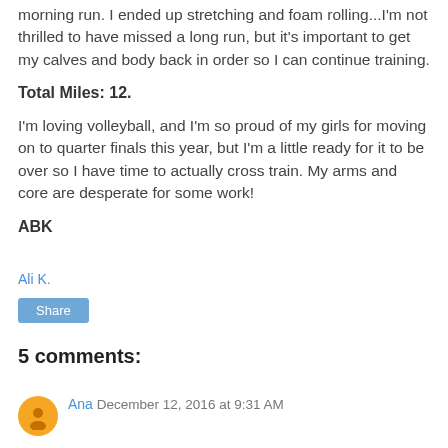morning run. I ended up stretching and foam rolling...I'm not thrilled to have missed a long run, but it's important to get my calves and body back in order so I can continue training.
Total Miles: 12.
I'm loving volleyball, and I'm so proud of my girls for moving on to quarter finals this year, but I'm a little ready for it to be over so I have time to actually cross train. My arms and core are desperate for some work!
ABK
Ali K.
Share
5 comments:
Ana December 12, 2016 at 9:31 AM